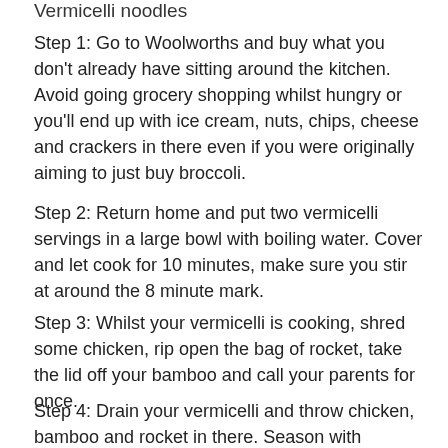Vermicelli noodles
Step 1: Go to Woolworths and buy what you don't already have sitting around the kitchen. Avoid going grocery shopping whilst hungry or you'll end up with ice cream, nuts, chips, cheese and crackers in there even if you were originally aiming to just buy broccoli.
Step 2: Return home and put two vermicelli servings in a large bowl with boiling water. Cover and let cook for 10 minutes, make sure you stir at around the 8 minute mark.
Step 3: Whilst your vermicelli is cooking, shred some chicken, rip open the bag of rocket, take the lid off your bamboo and call your parents for once.
Step 4: Drain your vermicelli and throw chicken, bamboo and rocket in there. Season with condiments of choice (I like sriracha and lime; or seasoned dumpling soy sauce if you have it)